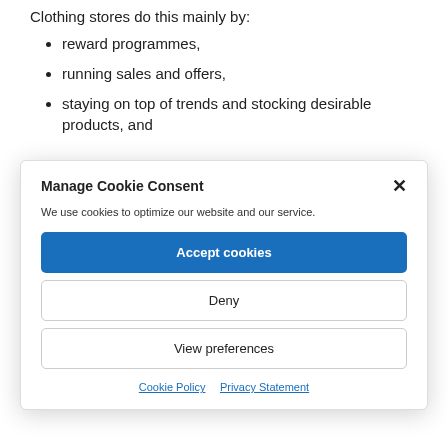Clothing stores do this mainly by:
reward programmes,
running sales and offers,
staying on top of trends and stocking desirable products, and
Manage Cookie Consent
We use cookies to optimize our website and our service.
Accept cookies
Deny
View preferences
Cookie Policy  Privacy Statement